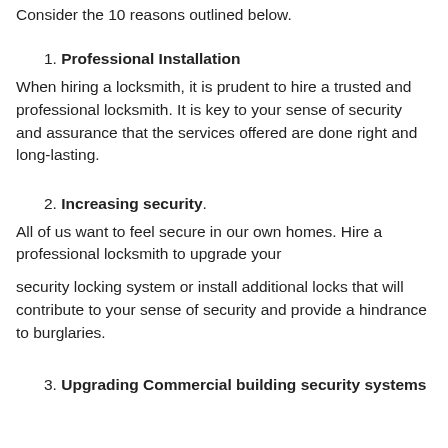Consider the 10 reasons outlined below.
1. Professional Installation
When hiring a locksmith, it is prudent to hire a trusted and professional locksmith. It is key to your sense of security and assurance that the services offered are done right and long-lasting.
2. Increasing security.
All of us want to feel secure in our own homes. Hire a professional locksmith to upgrade your
security locking system or install additional locks that will contribute to your sense of security and provide a hindrance to burglaries.
3. Upgrading Commercial building security systems